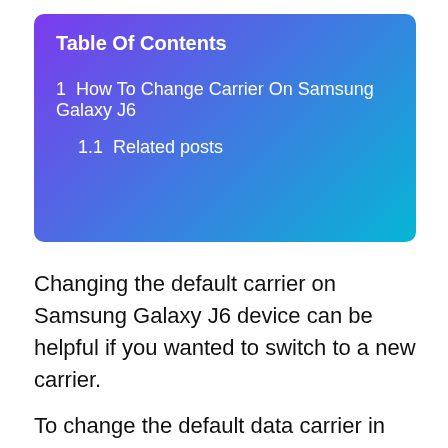Table Of Contents
1  How To Change Carrier On Samsung Galaxy J6
1.1  Related posts
Changing the default carrier on Samsung Galaxy J6 device can be helpful if you wanted to switch to a new carrier.
To change the default data carrier in your Samsung Galaxy J6 mobile follow our step by step procedure below.